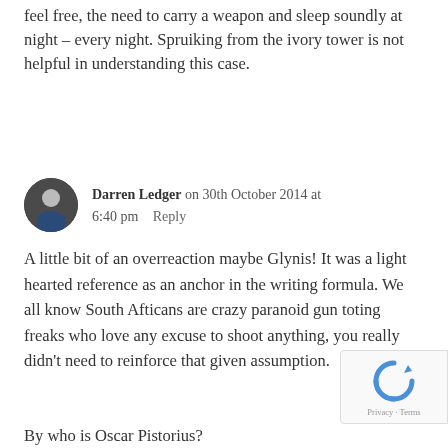feel free, the need to carry a weapon and sleep soundly at night – every night. Spruiking from the ivory tower is not helpful in understanding this case.
Darren Ledger on 30th October 2014 at 6:40 pm   Reply
A little bit of an overreaction maybe Glynis! It was a light hearted reference as an anchor in the writing formula. We all know South Afticans are crazy paranoid gun toting freaks who love any excuse to shoot anything, you really didn't need to reinforce that given assumption.
By who is Oscar Pistorius?